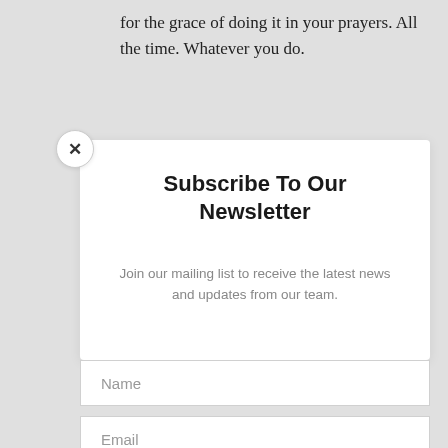for the grace of doing it in your prayers. All the time. Whatever you do.
Subscribe To Our Newsletter
Join our mailing list to receive the latest news and updates from our team.
Name
Email
SUBSCRIBE